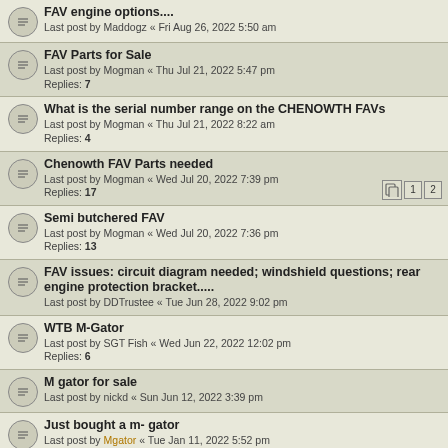FAV engine options.... Last post by Maddogz « Fri Aug 26, 2022 5:50 am
FAV Parts for Sale Last post by Mogman « Thu Jul 21, 2022 5:47 pm Replies: 7
What is the serial number range on the CHENOWTH FAVs Last post by Mogman « Thu Jul 21, 2022 8:22 am Replies: 4
Chenowth FAV Parts needed Last post by Mogman « Wed Jul 20, 2022 7:39 pm Replies: 17 pages: 1 2
Semi butchered FAV Last post by Mogman « Wed Jul 20, 2022 7:36 pm Replies: 13
FAV issues: circuit diagram needed; windshield questions; rear engine protection bracket..... Last post by DDTrustee « Tue Jun 28, 2022 9:02 pm
WTB M-Gator Last post by SGT Fish « Wed Jun 22, 2022 12:02 pm Replies: 6
M gator for sale Last post by nickd « Sun Jun 12, 2022 3:39 pm
Just bought a m- gator Last post by Mgator « Tue Jan 11, 2022 5:52 pm Replies: 3
Need a gator motor Last post by nickd « Tue Nov 30, 2021 11:07 am
WTD CHENOWTH FAV VW DUNE BUGGY/WHOLE OR PARTS